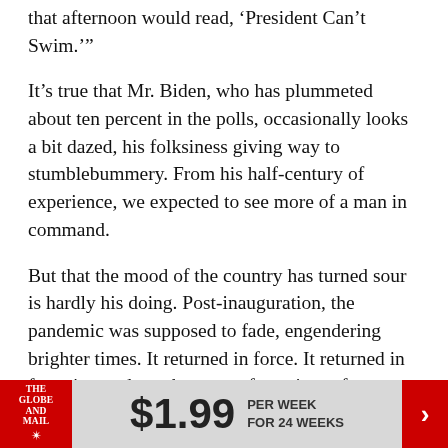that afternoon would read, ‘President Can’t Swim.’”
It’s true that Mr. Biden, who has plummeted about ten percent in the polls, occasionally looks a bit dazed, his folksiness giving way to stumblebummery. From his half-century of experience, we expected to see more of a man in command.
But that the mood of the country has turned sour is hardly his doing. Post-inauguration, the pandemic was supposed to fade, engendering brighter times. It returned in force. It returned in force in good part because of vaccine-refusers on the Republican right.
He does bear responsibility for the botched
[Figure (infographic): Globe and Mail subscription advertisement banner: $1.99 per week for 24 weeks]